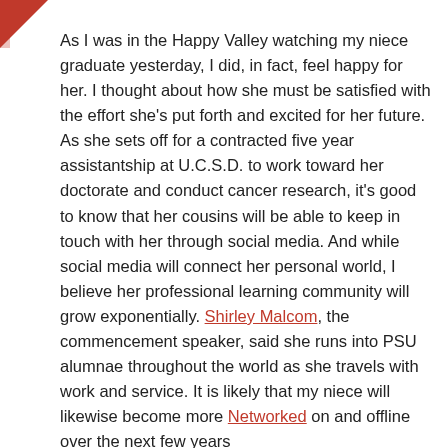[Figure (other): Red corner accent shape in top-left corner]
As I was in the Happy Valley watching my niece graduate yesterday, I did, in fact, feel happy for her. I thought about how she must be satisfied with the effort she's put forth and excited for her future. As she sets off for a contracted five year assistantship at U.C.S.D. to work toward her doctorate and conduct cancer research, it's good to know that her cousins will be able to keep in touch with her through social media. And while social media will connect her personal world, I believe her professional learning community will grow exponentially. Shirley Malcom, the commencement speaker, said she runs into PSU alumnae throughout the world as she travels with work and service. It is likely that my niece will likewise become more Networked on and offline over the next few years